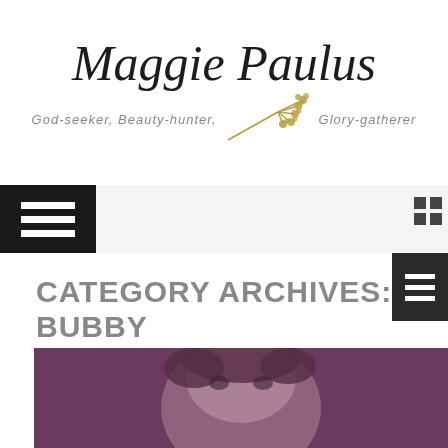[Figure (logo): Maggie Paulus blog logo with cursive title text, floral branch illustration in gold, and subtitle 'God-seeker, Beauty-hunter, Glory-gatherer']
[Figure (screenshot): Navigation bar with black hamburger menu icon on left and grid icon on right]
CATEGORY ARCHIVES: BUBBY ADVENTURES
[Figure (photo): Partially visible photo of a child's face with purple/pink color tint at bottom of page]